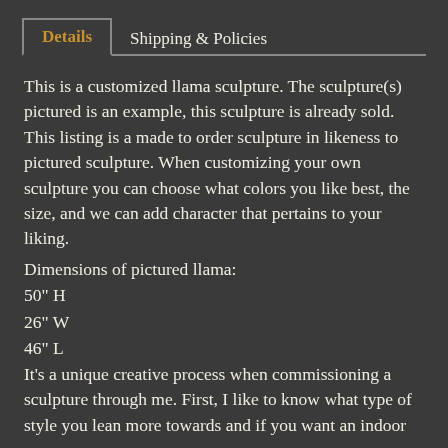Details | Shipping & Policies
This is a customized llama sculpture. The sculpture(s) pictured is an example, this sculpture is already sold. This listing is a made to order sculpture in likeness to pictured sculpture. When customizing your own sculpture you can choose what colors you like best, the size, and we can add character that pertains to your liking.
Dimensions of pictured llama:
50" H
26" W
46" L
It's a unique creative process when commissioning a sculpture through me. First, I like to know what type of style you lean more towards and if you want an indoor or outdoor piece. Then I like to know what you envision